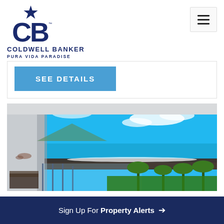[Figure (logo): Coldwell Banker Pura Vida Paradise logo with CB monogram and star]
COLDWELL BANKER
PURA VIDA PARADISE
SEE DETAILS
[Figure (photo): Beachfront condo balcony view showing ocean, sandy beach, palm trees and blue sky]
Sign Up For Property Alerts →